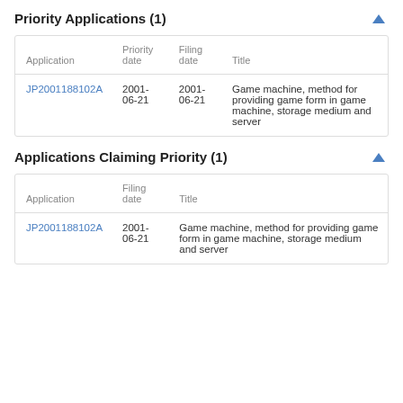Priority Applications (1)
| Application | Priority date | Filing date | Title |
| --- | --- | --- | --- |
| JP2001188102A | 2001-06-21 | 2001-06-21 | Game machine, method for providing game form in game machine, storage medium and server |
Applications Claiming Priority (1)
| Application | Filing date | Title |
| --- | --- | --- |
| JP2001188102A | 2001-06-21 | Game machine, method for providing game form in game machine, storage medium and server |